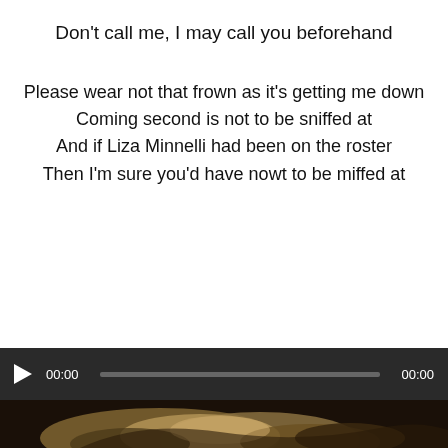Don’t call me, I may call you beforehand
Please wear not that frown as it’s getting me down
Coming second is not to be sniffed at
And if Liza Minnelli had been on the roster
Then I’m sure you’d have nowt to be miffed at
[Figure (screenshot): An audio player bar with a play button, time display showing 00:00 on both sides, and a progress track, above a thumbnail image of a person with blonde hair on a dark background.]